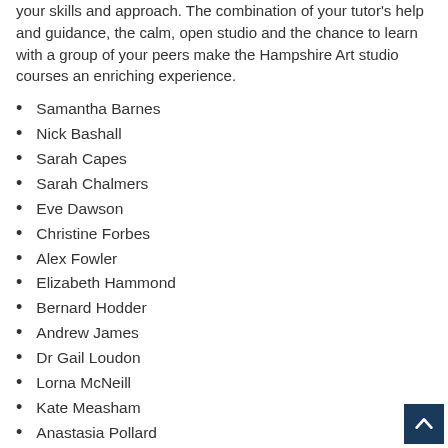your skills and approach. The combination of your tutor's help and guidance, the calm, open studio and the chance to learn with a group of your peers make the Hampshire Art studio courses an enriching experience.
Samantha Barnes
Nick Bashall
Sarah Capes
Sarah Chalmers
Eve Dawson
Christine Forbes
Alex Fowler
Elizabeth Hammond
Bernard Hodder
Andrew James
Dr Gail Loudon
Lorna McNeill
Kate Measham
Anastasia Pollard